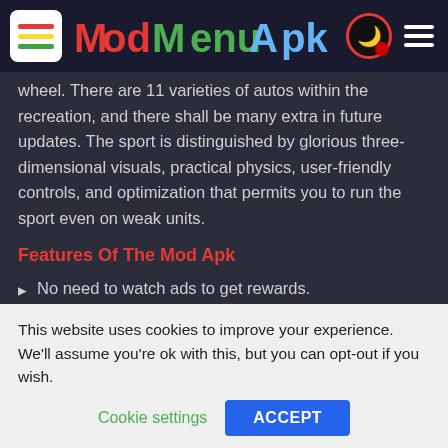Mod Menu APK
wheel. There are 11 varieties of autos within the recreation, and there shall be many extra in future updates. The sport is distinguished by glorious three-dimensional visuals, practical physics, user-friendly controls, and optimization that permits you to run the sport even on weak units.
Features Of The Mod Apk
No need to watch ads to get rewards.
IMAGES
This website uses cookies to improve your experience. We'll assume you're ok with this, but you can opt-out if you wish. Cookie settings ACCEPT